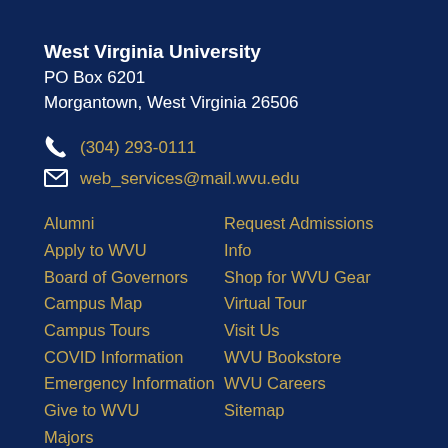West Virginia University
PO Box 6201
Morgantown, West Virginia 26506
(304) 293-0111
web_services@mail.wvu.edu
Alumni
Apply to WVU
Board of Governors
Campus Map
Campus Tours
COVID Information
Emergency Information
Give to WVU
Majors
Request Admissions Info
Shop for WVU Gear
Virtual Tour
Visit Us
WVU Bookstore
WVU Careers
Sitemap